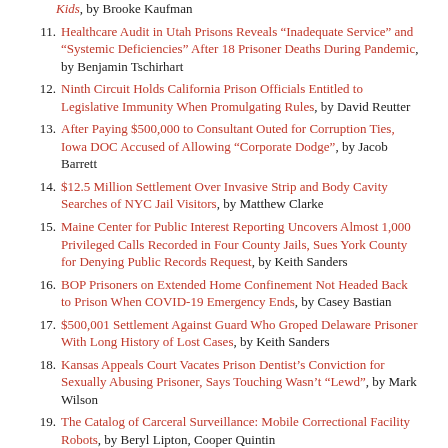Kids, by Brooke Kaufman
11. Healthcare Audit in Utah Prisons Reveals “Inadequate Service” and “Systemic Deficiencies” After 18 Prisoner Deaths During Pandemic, by Benjamin Tschirhart
12. Ninth Circuit Holds California Prison Officials Entitled to Legislative Immunity When Promulgating Rules, by David Reutter
13. After Paying $500,000 to Consultant Outed for Corruption Ties, Iowa DOC Accused of Allowing “Corporate Dodge”, by Jacob Barrett
14. $12.5 Million Settlement Over Invasive Strip and Body Cavity Searches of NYC Jail Visitors, by Matthew Clarke
15. Maine Center for Public Interest Reporting Uncovers Almost 1,000 Privileged Calls Recorded in Four County Jails, Sues York County for Denying Public Records Request, by Keith Sanders
16. BOP Prisoners on Extended Home Confinement Not Headed Back to Prison When COVID-19 Emergency Ends, by Casey Bastian
17. $500,001 Settlement Against Guard Who Groped Delaware Prisoner With Long History of Lost Cases, by Keith Sanders
18. Kansas Appeals Court Vacates Prison Dentist’s Conviction for Sexually Abusing Prisoner, Says Touching Wasn’t “Lewd”, by Mark Wilson
19. The Catalog of Carceral Surveillance: Mobile Correctional Facility Robots, by Beryl Lipton, Cooper Quintin